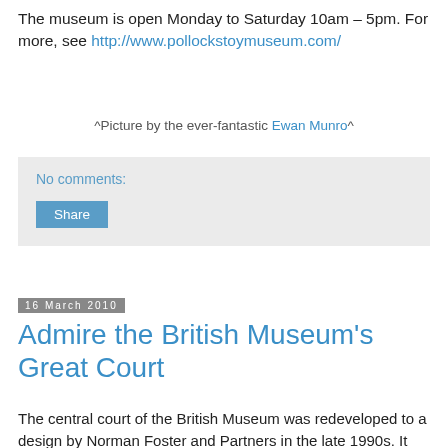The museum is open Monday to Saturday 10am – 5pm. For more, see http://www.pollockstoymuseum.com/
^Picture by the ever-fantastic Ewan Munro^
No comments:
Share
16 March 2010
Admire the British Museum's Great Court
The central court of the British Museum was redeveloped to a design by Norman Foster and Partners in the late 1990s. It reopened in 2000 as the Queen Elizabeth II Great Court.
[Figure (photo): Photo of the glass and steel roof of the British Museum's Great Court, showing the geometric triangular grid pattern in teal/green tones]